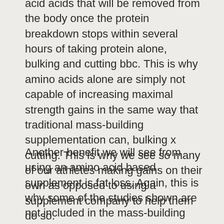acid acids that will be removed from the body once the protein breakdown stops within several hours of taking protein alone, bulking and cutting bbc. This is why amino acids alone are simply not capable of increasing maximal strength gains in the same way that traditional mass-building supplementation can, bulking x cutting. This is why we see so many of our athletes making gains on their own as opposed to using a supplement company to help them do so.
Another benefit we will see from using an amino acid based supplement is fat loss. Again, this is why some of the studies shown are not included in the mass-building formulas as they don't use the appropriate supplements. This applies to a multitude of supplements, from creatine to leucine to casein, but again, not all of them are appropriate for this method of protein